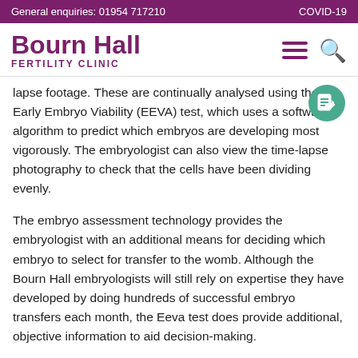General enquiries: 01954 717210   COVID-19
[Figure (logo): Bourn Hall Fertility Clinic logo with hamburger menu and search icon]
lapse footage. These are continually analysed using the Early Embryo Viability (EEVA) test, which uses a software algorithm to predict which embryos are developing most vigorously. The embryologist can also view the time-lapse photography to check that the cells have been dividing evenly.
The embryo assessment technology provides the embryologist with an additional means for deciding which embryo to select for transfer to the womb. Although the Bourn Hall embryologists will still rely on expertise they have developed by doing hundreds of successful embryo transfers each month, the Eeva test does provide additional, objective information to aid decision-making.